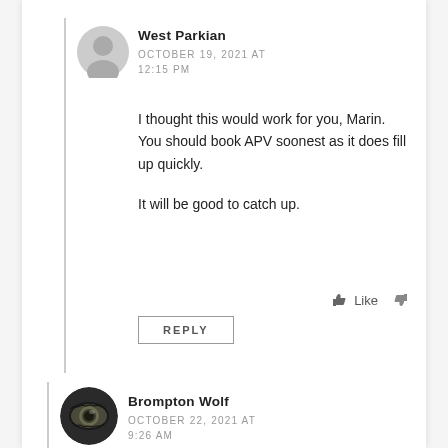West Parkian
OCTOBER 19, 2021 AT 12:15 PM
I thought this would work for you, Marin. You should book APV soonest as it does fill up quickly.

It will be good to catch up.
Like
REPLY
Brompton Wolf
OCTOBER 22, 2021 AT 9:26 AM